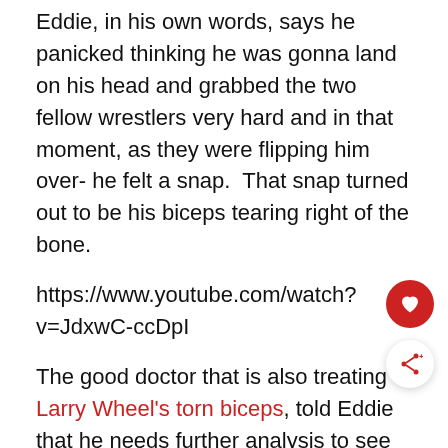Eddie, in his own words, says he panicked thinking he was gonna land on his head and grabbed the two fellow wrestlers very hard and in that moment, as they were flipping him over- he felt a snap.  That snap turned out to be his biceps tearing right of the bone.
https://www.youtube.com/watch?v=JdxwC-ccDpI
The good doctor that is also treating Larry Wheel's torn biceps, told Eddie that he needs further analysis to see what kind of damage is done to the biceps.
Is the tendon torn along with the muscle or is it just the muscle. If the tendon is gone as well he will have to get both muscle and tendon grafts for it to